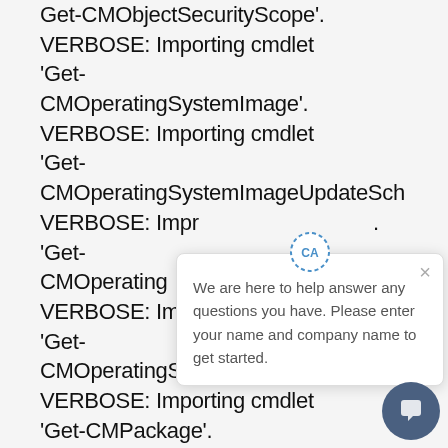Get-CMObjectSecurityScope'. VERBOSE: Importing cmdlet 'Get-CMOperatingSystemImage'. VERBOSE: Importing cmdlet 'Get-CMOperatingSystemImageUpdateSch VERBOSE: Importing cmdlet 'Get-CMOperating VERBOSE: Importing cmdlet 'Get-CMOperatingSystemUpgradeUpdateS VERBOSE: Importing cmdlet 'Get-CMPackage'. VERBOSE: Importing cmdlet
[Figure (screenshot): Chat popup widget with avatar icon showing 'CA' in a dashed blue circle, a close X button, and text reading 'We are here to help answer any questions you have. Please enter your name and company name to get started.' Below is a dark blue circular chat button with a speech bubble icon.]